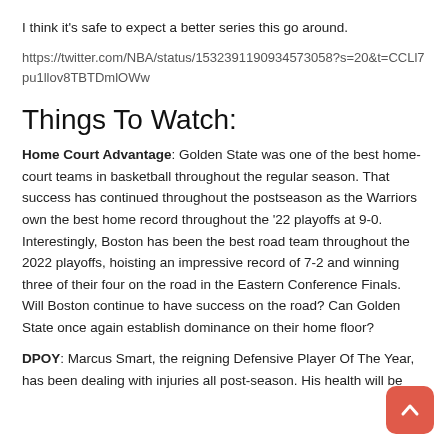I think it's safe to expect a better series this go around.
https://twitter.com/NBA/status/1532391190934573058?s=20&t=CCLl7pu1llov8TBTDmlOWw
Things To Watch:
Home Court Advantage: Golden State was one of the best home-court teams in basketball throughout the regular season. That success has continued throughout the postseason as the Warriors own the best home record throughout the '22 playoffs at 9-0.  Interestingly, Boston has been the best road team throughout the 2022 playoffs, hoisting an impressive record of 7-2 and winning three of their four on the road in the Eastern Conference Finals. Will Boston continue to have success on the road? Can Golden State once again establish dominance on their home floor?
DPOY: Marcus Smart, the reigning Defensive Player Of The Year, has been dealing with injuries all post-season. His health will be